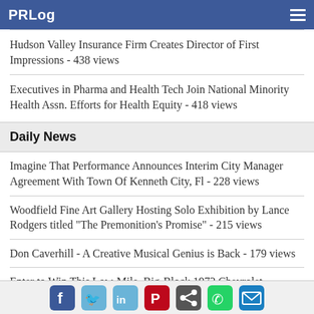PRLog
Hudson Valley Insurance Firm Creates Director of First Impressions - 438 views
Executives in Pharma and Health Tech Join National Minority Health Assn. Efforts for Health Equity - 418 views
Daily News
Imagine That Performance Announces Interim City Manager Agreement With Town Of Kenneth City, Fl - 228 views
Woodfield Fine Art Gallery Hosting Solo Exhibition by Lance Rodgers titled "The Premonition's Promise" - 215 views
Don Caverhill - A Creative Musical Genius is Back - 179 views
Enter to Win This Low-Mile, Big-Block 1972 Chevrolet Chevelle SS! - 166 views
Social share icons: Facebook, Twitter, LinkedIn, Pinterest, Share, WhatsApp, Email